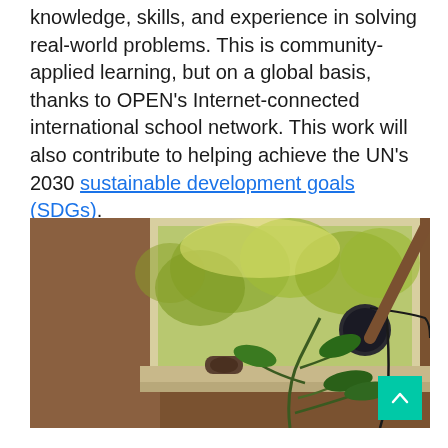knowledge, skills, and experience in solving real-world problems. This is community-applied learning, but on a global basis, thanks to OPEN's Internet-connected international school network. This work will also contribute to helping achieve the UN's 2030 sustainable development goals (SDGs).
[Figure (photo): A photo of a windowsill with a small electronic sensor/device, green houseplants, and what appears to be a round speaker or air quality monitor, with trees visible through the window outside.]